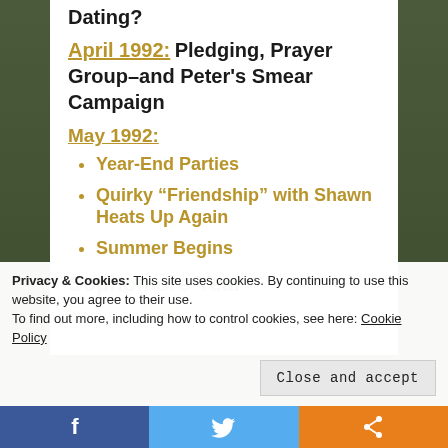Dating?
April 1992: Pledging, Prayer Group–and Peter's Smear Campaign
May 1992:
Year-End Parties
Quirky “Friendship” with Shawn Heats Up Again
Summer Begins
Sophomore Year
Privacy & Cookies: This site uses cookies. By continuing to use this website, you agree to their use. To find out more, including how to control cookies, see here: Cookie Policy
Close and accept